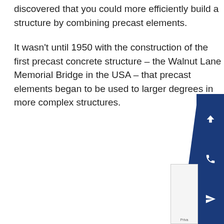discovered that you could more efficiently build a structure by combining precast elements.
It wasn't until 1950 with the construction of the first precast concrete structure – the Walnut Lane Memorial Bridge in the USA – that precast elements began to be used to larger degrees in more complex structures.